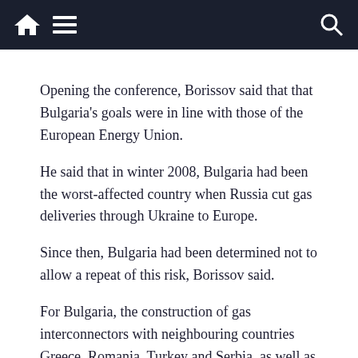Navigation bar with home, menu, and search icons
Opening the conference, Borissov said that that Bulgaria’s goals were in line with those of the European Energy Union.
He said that in winter 2008, Bulgaria had been the worst-affected country when Russia cut gas deliveries through Ukraine to Europe.
Since then, Bulgaria had been determined not to allow a repeat of this risk, Borissov said.
For Bulgaria, the construction of gas interconnectors with neighbouring countries Greece, Romania, Turkey and Serbia, as well as development of its own gas fields on the Black Sea shelf were priorities, Borissov said.